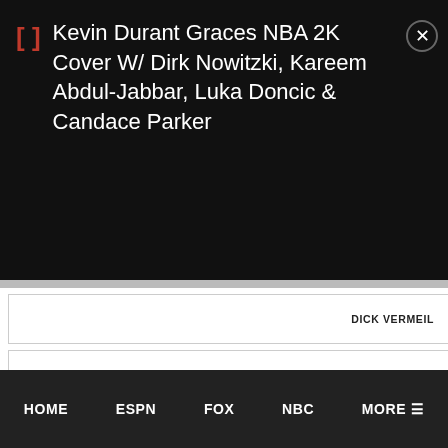Kevin Durant Graces NBA 2K Cover W/ Dirk Nowitzki, Kareem Abdul-Jabbar, Luka Doncic & Candace Parker
| DICK VERMEIL |
| 73 |
| FULL GAME REPLAY |
| Mon 10/26/15 |
| 1:00 AM |
| 4:00 AM |
HOME  ESPN  FOX  NBC  MORE